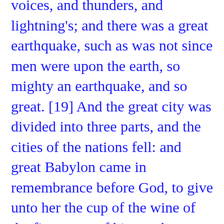voices, and thunders, and lightning's; and there was a great earthquake, such as was not since men were upon the earth, so mighty an earthquake, and so great. [19] And the great city was divided into three parts, and the cities of the nations fell: and great Babylon came in remembrance before God, to give unto her the cup of the wine of the fierceness of his wrath. Revelation 16:18, 19.
Science in Revelation Part 29 Living Waters And it shall be in that day, that living waters shall go out from Jerusalem; half of them toward the former sea, and half of them toward the hinder sea: in summer and in winter shall it be. [9] And the Lord shall be